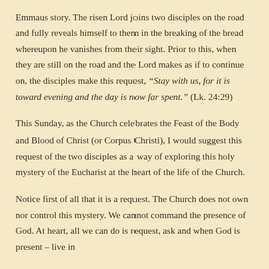Emmaus story.  The risen Lord joins two disciples on the road and fully reveals himself to them in the breaking of the bread whereupon he vanishes from their sight.  Prior to this, when they are still on the road and the Lord makes as if to continue on, the disciples make this request, “Stay with us, for it is toward evening and the day is now far spent.” (Lk. 24:29)
This Sunday, as the Church celebrates the Feast of the Body and Blood of Christ (or Corpus Christi), I would suggest this request of the two disciples as a way of exploring this holy mystery of the Eucharist at the heart of the life of the Church.
Notice first of all that it is a request.  The Church does not own nor control this mystery.  We cannot command the presence of God.  At heart, all we can do is request, ask and when God is present – live in